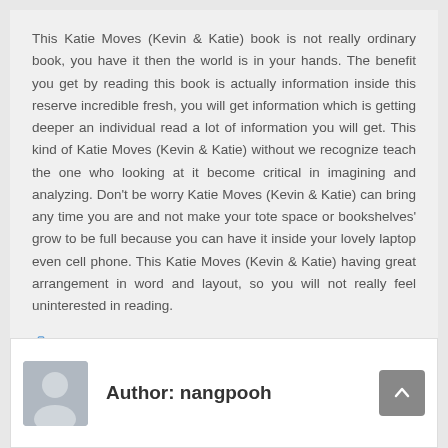This Katie Moves (Kevin & Katie) book is not really ordinary book, you have it then the world is in your hands. The benefit you get by reading this book is actually information inside this reserve incredible fresh, you will get information which is getting deeper an individual read a lot of information you will get. This kind of Katie Moves (Kevin & Katie) without we recognize teach the one who looking at it become critical in imagining and analyzing. Don't be worry Katie Moves (Kevin & Katie) can bring any time you are and not make your tote space or bookshelves' grow to be full because you can have it inside your lovely laptop even cell phone. This Katie Moves (Kevin & Katie) having great arrangement in word and layout, so you will not really feel uninterested in reading.
Read Online: Katie Moves (Kevin & Katie) PDF
Author: nangpooh